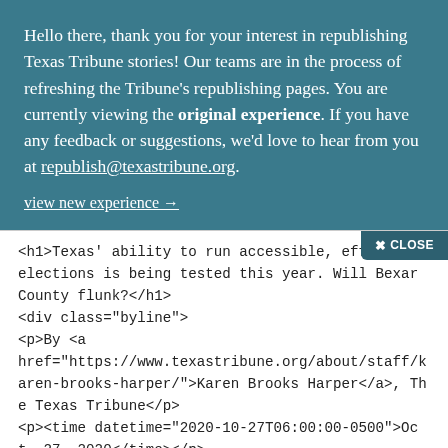Hello there, thank you for your interest in republishing Texas Tribune stories! Our teams are in the process of refreshing the Tribune's republishing pages. You are currently viewing the original experience. If you have any feedback or suggestions, we'd love to hear from you at republish@texastribune.org.
view new experience →
✕ CLOSE
<h1>Texas' ability to run accessible, efficient elections is being tested this year. Will Bexar County flunk?</h1>
<div class="byline">
<p>By <a href="https://www.texastribune.org/about/staff/karen-brooks-harper/">Karen Brooks Harper</a>, The Texas Tribune</p>
<p><time datetime="2020-10-27T06:00:00-0500">Oct. 27, 2020</time></p>
</div>
<p>"<a href="https://www.texastribune.org/2020/10/27/bexar-county-texas-election/">Texas' ability to run accessible, efficient elections is being tested this year. Will Bexar County flunk?</a>" was first published by The Texas